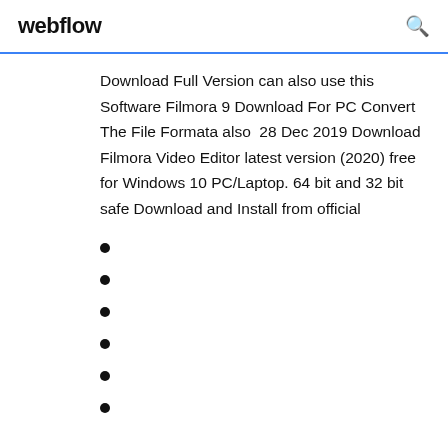webflow
Download Full Version can also use this Software Filmora 9 Download For PC Convert The File Formata also  28 Dec 2019 Download Filmora Video Editor latest version (2020) free for Windows 10 PC/Laptop. 64 bit and 32 bit safe Download and Install from official